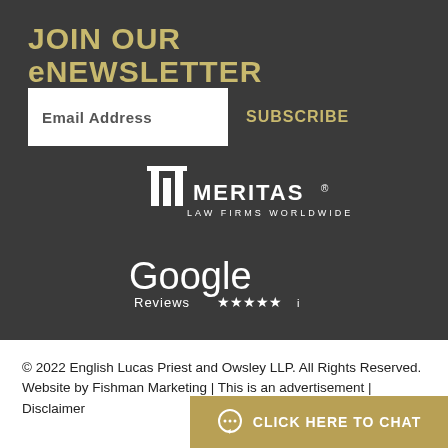JOIN OUR eNEWSLETTER
Email Address
SUBSCRIBE
[Figure (logo): Meritas Law Firms Worldwide logo in white]
[Figure (logo): Google Reviews 5 stars logo in white]
© 2022 English Lucas Priest and Owsley LLP. All Rights Reserved. Website by Fishman Marketing | This is an advertisement | Disclaimer
CLICK HERE TO CHAT